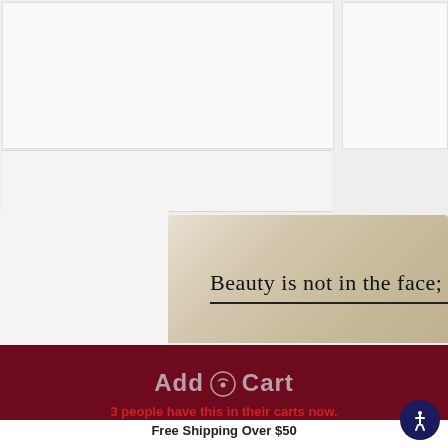[Figure (photo): Product photo showing a stone or soap bar with engraved text 'Beauty is not in the face;' on a textured beige/cream surface, with white tile background elements in upper portion]
Add to Cart
3 people have this in their carts now.
Free Shipping Over $50